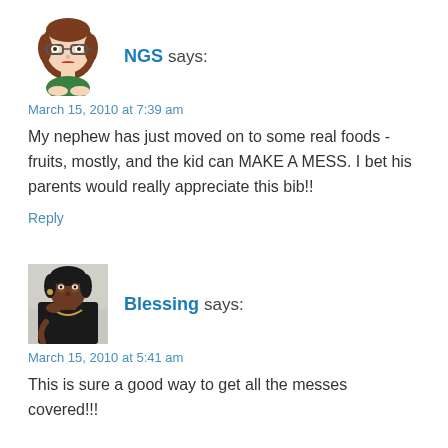[Figure (illustration): Cartoon avatar of NGS: a woman with brown hair, glasses, fair skin, red lips, wearing green top]
NGS says:
March 15, 2010 at 7:39 am
My nephew has just moved on to some real foods - fruits, mostly, and the kid can MAKE A MESS. I bet his parents would really appreciate this bib!!
Reply
[Figure (photo): Profile photo of Blessing: a Black woman wearing a black outfit and jewelry]
Blessing says:
March 15, 2010 at 5:41 am
This is sure a good way to get all the messes covered!!!